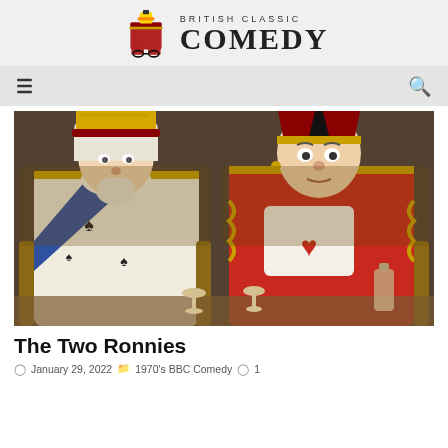[Figure (logo): British Classic Comedy website logo with illustrated red trousers character and site name]
≡   🔍
[Figure (photo): Two men dressed as playing card royalty (King and Queen of Hearts) in elaborate colorful costumes sitting in ornate chairs — a scene from The Two Ronnies]
The Two Ronnies
January 29, 2022   1970's BBC Comedy   1